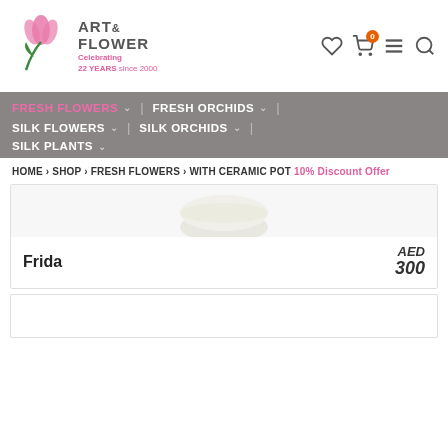[Figure (logo): Art & Flower logo with tulip SVG graphic, pink and green, with tagline Celebrating 22 YEARS since 2000]
Art& FLOWER Celebrating 22 YEARS since 2000
FRESH FLOWERS ∨ | FRESH ORCHIDS ∨ |
SILK FLOWERS ∨ | SILK ORCHIDS ∨ |
SILK PLANTS ∨
HOME › SHOP › FRESH FLOWERS › WITH CERAMIC POT 10% Discount Offer
Frida   AED 300